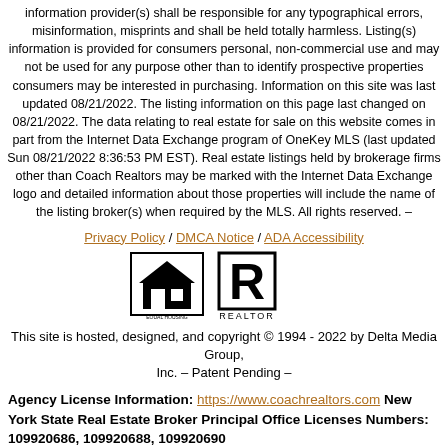information provider(s) shall be responsible for any typographical errors, misinformation, misprints and shall be held totally harmless. Listing(s) information is provided for consumers personal, non-commercial use and may not be used for any purpose other than to identify prospective properties consumers may be interested in purchasing. Information on this site was last updated 08/21/2022. The listing information on this page last changed on 08/21/2022. The data relating to real estate for sale on this website comes in part from the Internet Data Exchange program of OneKey MLS (last updated Sun 08/21/2022 8:36:53 PM EST). Real estate listings held by brokerage firms other than Coach Realtors may be marked with the Internet Data Exchange logo and detailed information about those properties will include the name of the listing broker(s) when required by the MLS. All rights reserved. –
Privacy Policy / DMCA Notice / ADA Accessibility
[Figure (logo): Equal Housing Opportunity logo and Realtor logo]
This site is hosted, designed, and copyright © 1994 - 2022 by Delta Media Group, Inc. – Patent Pending –
Agency License Information: https://www.coachrealtors.com New York State Real Estate Broker Principal Office Licenses Numbers: 109920686, 109920688, 109920690
Agents Only Login